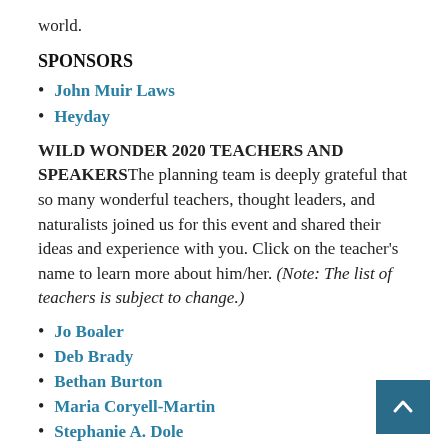world.
SPONSORS
John Muir Laws
Heyday
WILD WONDER 2020 TEACHERS AND SPEAKERSThe planning team is deeply grateful that so many wonderful teachers, thought leaders, and naturalists joined us for this event and shared their ideas and experience with you. Click on the teacher's name to learn more about him/her. (Note: The list of teachers is subject to change.)
Jo Boaler
Deb Brady
Bethan Burton
Maria Coryell-Martin
Stephanie A. Dole